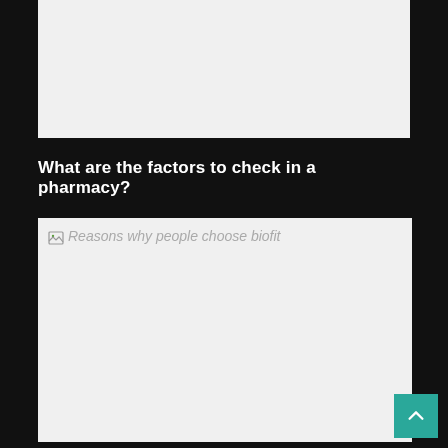[Figure (other): Blank light gray image placeholder at top of page]
What are the factors to check in a pharmacy?
[Figure (photo): Broken image placeholder with alt text: Reasons why people choose biofit]
[Figure (other): Teal scroll-to-top button with upward chevron arrow in bottom right corner]